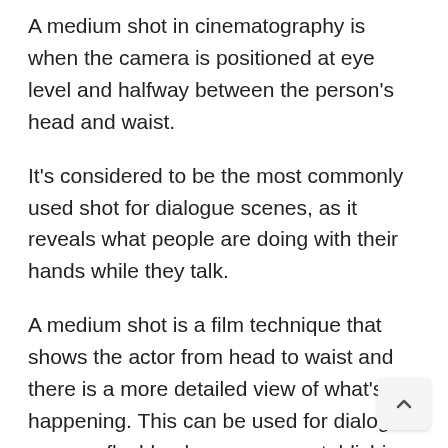A medium shot in cinematography is when the camera is positioned at eye level and halfway between the person's head and waist.
It's considered to be the most commonly used shot for dialogue scenes, as it reveals what people are doing with their hands while they talk.
A medium shot is a film technique that shows the actor from head to waist and there is a more detailed view of what's happening. This can be used for dialogue scenes, flashbacks, or as an establishing shot.